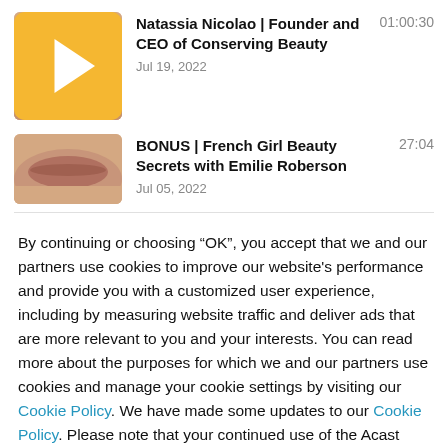[Figure (screenshot): Podcast episode thumbnail showing close-up of lips, with yellow play button triangle overlay in bottom-right corner]
Natassia Nicolao | Founder and CEO of Conserving Beauty
01:00:30
Jul 19, 2022
[Figure (photo): Podcast episode thumbnail showing close-up of lips/face]
BONUS | French Girl Beauty Secrets with Emilie Roberson
27:04
Jul 05, 2022
By continuing or choosing “OK”, you accept that we and our partners use cookies to improve our website's performance and provide you with a customized user experience, including by measuring website traffic and deliver ads that are more relevant to you and your interests. You can read more about the purposes for which we and our partners use cookies and manage your cookie settings by visiting our Cookie Policy. We have made some updates to our Cookie Policy. Please note that your continued use of the Acast service will be deemed an acceptance of this update.
Not now
OK